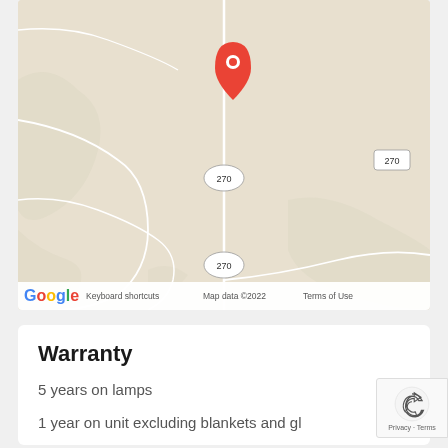[Figure (map): Google Maps screenshot showing a rural area with route 270 marked three times. A red location pin is placed near the top-center of the map. Roads are shown as white lines on a beige background. Google logo and map attribution visible at bottom.]
Warranty
5 years on lamps
1 year on unit excluding blankets and gl